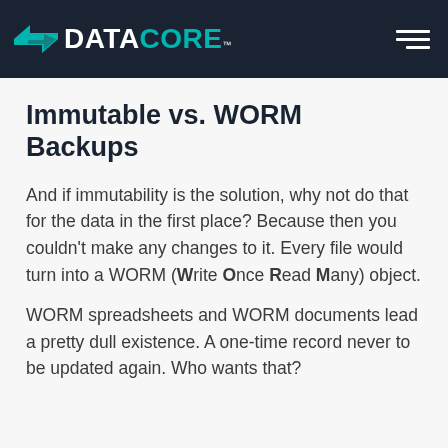DATACORE
Immutable vs. WORM Backups
And if immutability is the solution, why not do that for the data in the first place? Because then you couldn't make any changes to it. Every file would turn into a WORM (Write Once Read Many) object.
WORM spreadsheets and WORM documents lead a pretty dull existence. A one-time record never to be updated again. Who wants that?